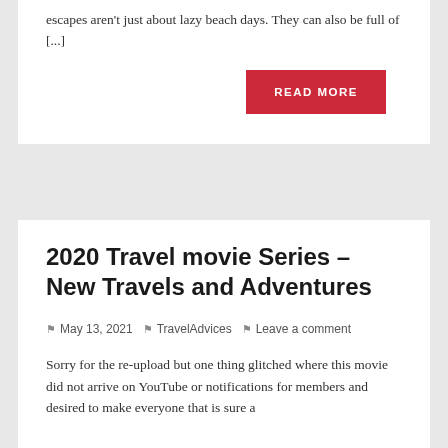escapes aren't just about lazy beach days. They can also be full of [...]
READ MORE
2020 Travel movie Series – New Travels and Adventures
May 13, 2021   TravelAdvices   Leave a comment
Sorry for the re-upload but one thing glitched where this movie did not arrive on YouTube or notifications for members and desired to make everyone that is sure a